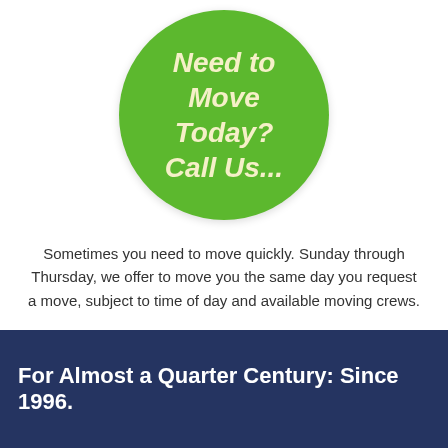[Figure (illustration): Green circle badge with italic bold text reading 'Need to Move Today? Call Us...']
Sometimes you need to move quickly. Sunday through Thursday, we offer to move you the same day you request a move, subject to time of day and available moving crews.
For Almost a Quarter Century: Since 1996.